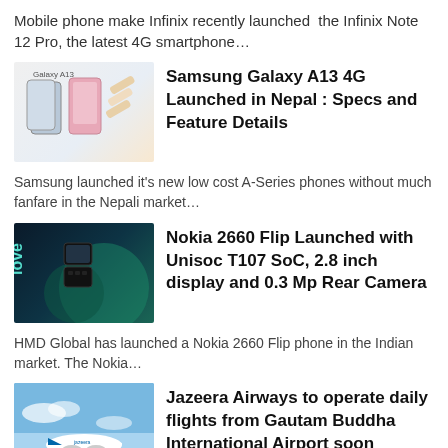Mobile phone make Infinix recently launched the Infinix Note 12 Pro, the latest 4G smartphone…
[Figure (photo): Samsung Galaxy A13 smartphones displayed]
Samsung Galaxy A13 4G Launched in Nepal : Specs and Feature Details
Samsung launched it's new low cost A-Series phones without much fanfare in the Nepali market…
[Figure (photo): Nokia 2660 Flip phone promotional image]
Nokia 2660 Flip Launched with Unisoc T107 SoC, 2.8 inch display and 0.3 Mp Rear Camera
HMD Global has launched a Nokia 2660 Flip phone in the Indian market. The Nokia…
[Figure (photo): Jazeera Airways airplane in flight]
Jazeera Airways to operate daily flights from Gautam Buddha International Airport soon
Kuwait's Jazeera Airways will operate daily flights from Gautam Buddha International Airport soon